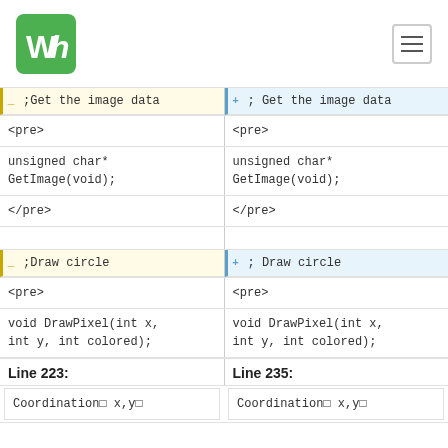WH logo and navigation
_;Get the image data | +; Get the image data
<pre> | <pre>
unsigned char* GetImage(void); | unsigned char* GetImage(void);
</pre> | </pre>
_;Draw circle | +; Draw circle
<pre> | <pre>
void DrawPixel(int x, int y, int colored); | void DrawPixel(int x, int y, int colored);
Line 223: | Line 235:
Coordination x,y | Coordination x,y